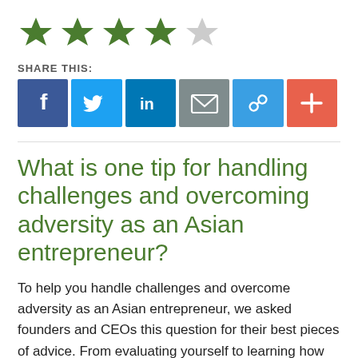[Figure (other): Five-star rating showing 4 filled green stars and 1 half/empty grey star]
SHARE THIS:
[Figure (infographic): Social share buttons: Facebook (blue), Twitter (light blue), LinkedIn (blue), Email (grey), Link (blue), Plus/More (orange-red)]
What is one tip for handling challenges and overcoming adversity as an Asian entrepreneur?
To help you handle challenges and overcome adversity as an Asian entrepreneur, we asked founders and CEOs this question for their best pieces of advice. From evaluating yourself to learning how